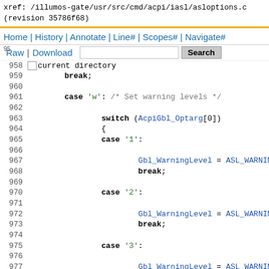xref: /illumos-gate/usr/src/cmd/acpi/iasl/asloptions.c
(revision 35786f68)
Home | History | Annotate | Line# | Scopes# | Navigate#
95Raw | Download   [search box] [Search button]
958 [checkbox] current directory
959         break;
960
961         case 'w': /* Set warning levels */
962
963                 switch (AcpiGbl_Optarg[0])
964                 {
965                 case '1':
966
967                         Gbl_WarningLevel = ASL_WARNING;
968                         break;
969
970                 case '2':
971
972                         Gbl_WarningLevel = ASL_WARNING2;
973                         break;
974
975                 case '3':
976
977                         Gbl_WarningLevel = ASL_WARNING3;
978                         break;
979
980                 case 'e':
981